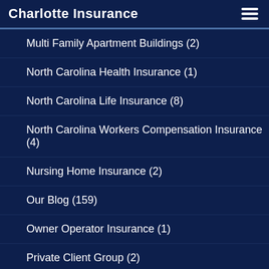Charlotte Insurance
Multi Family Apartment Buildings (2)
North Carolina Health Insurance (1)
North Carolina Life Insurance (8)
North Carolina Workers Compensation Insurance (4)
Nursing Home Insurance (2)
Our Blog (159)
Owner Operator Insurance (1)
Private Client Group (2)
Private Client Services (3)
Restaurant Insurance (11)